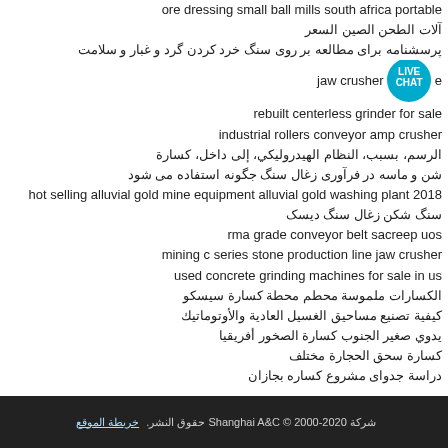ore dressing small ball mills south africa portable
آلات الطحن الصين السعر
پرسشنامه برای مطالعه بر روی سنگ خرد کردن گرد و غبار و سلامت
jaw crusher [LIVE CHAT] e
rebuilt centerless grinder for sale
industrial rollers conveyor amp crusher
الرسم، بسبب، النظام الهيدروليكي، إلى داخل، كسارة
شن و ماسه در فرآوری زغال سنگ جگونه استفاده می شود
hot selling alluvial gold mine equipment alluvial gold washing plant 2018
سنگ شکن زغال سنگ دیسک
rma grade conveyor belt sacreep uos
mining c series stone production line jaw crusher
used concrete grinding machines for sale in us
الكسارات ملموسة محطم محطة كسارة سيسكو
كيفية تصنيع مساحيق الغسيل العادية والأوتوماتيك
يدوي صغير الجنوب كسارة الصخور أفريقيا
كسارة سحق الحجارة مختلف
دراسة جدوای مشروع كساره بجازان
شركة Shanghai A&C © 2000-2020 حقوق النشر. خريطة الموقع